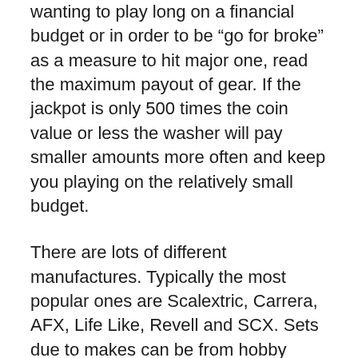wanting to play long on a financial budget or in order to be “go for broke” as a measure to hit major one, read the maximum payout of gear. If the jackpot is only 500 times the coin value or less the washer will pay smaller amounts more often and keep you playing on the relatively small budget.
There are lots of different manufactures. Typically the most popular ones are Scalextric, Carrera, AFX, Life Like, Revell and SCX. Sets due to makes can be from hobby stores, large dept stores and from online shopping sites including Amazon and ebay. Scalextric, Carrera and SCX have the widest range of cars including analog and digital pieces.